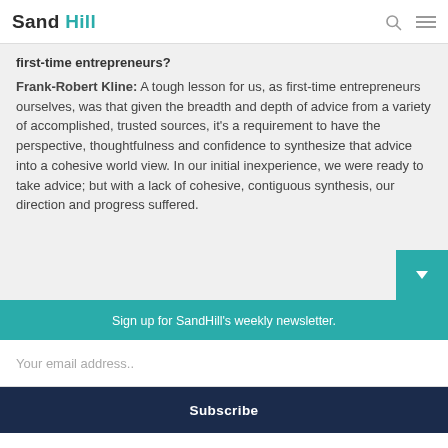Sand Hill
first-time entrepreneurs? Frank-Robert Kline: A tough lesson for us, as first-time entrepreneurs ourselves, was that given the breadth and depth of advice from a variety of accomplished, trusted sources, it's a requirement to have the perspective, thoughtfulness and confidence to synthesize that advice into a cohesive world view. In our initial inexperience, we were ready to take advice; but with a lack of cohesive, contiguous synthesis, our direction and progress suffered.
Sign up for SandHill's weekly newsletter.
Your email address..
Subscribe